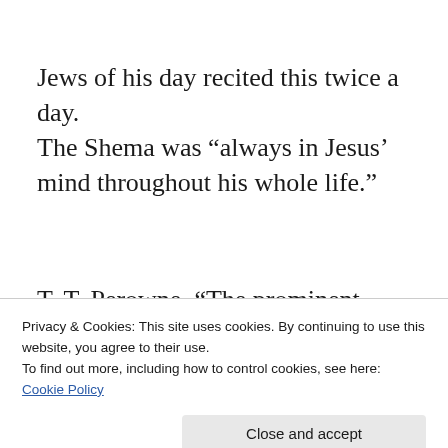Jews of his day recited this twice a day.
The Shema was “always in Jesus’ mind throughout his whole life.”
T. T. Perowne, “The prominent teaching of his…
Privacy & Cookies: This site uses cookies. By continuing to use this website, you agree to their use. To find out more, including how to control cookies, see here: Cookie Policy
Close and accept
8:58, 59). The claim implicit in that declaration…